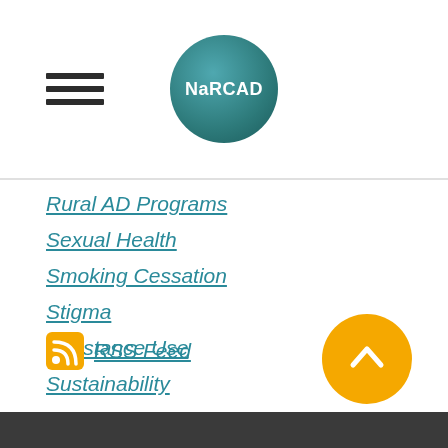NaRCAD
Rural AD Programs
Sexual Health
Smoking Cessation
Stigma
Substance Use
Sustainability
Training
Vaccinations
RSS Feed